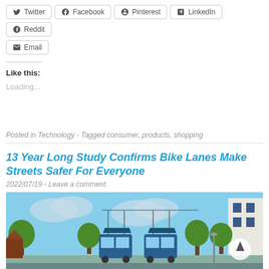Twitter Facebook Pinterest LinkedIn Reddit
Email
Like this:
Loading...
Posted in Technology - Tagged consumer, products, shopping
13 Year Long Study Confirms Bike Lanes Make Streets Safer For Everyone
2022/07/19 - Leave a comment
[Figure (illustration): City street illustration showing tram/trolley, trees, buildings and urban street scene with a blue sky background]